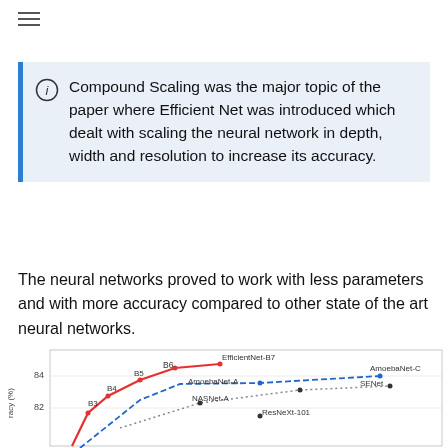≡
Compound Scaling was the major topic of the paper where Efficient Net was introduced which dealt with scaling the neural network in depth, width and resolution to increase its accuracy.
The neural networks proved to work with less parameters and with more accuracy compared to other state of the art neural networks.
[Figure (line-chart): Line chart showing accuracy (%) vs number of parameters for EfficientNet variants (B3-B7) in red solid line, AmoebaNet-A/C in blue dashed line, NASNet-A in dotted line, and other models (SENet, ResNeXt-101) as points. Y-axis shows values around 82-84%. EfficientNet-B7 and AmoebaNet-C are labeled at the top right.]